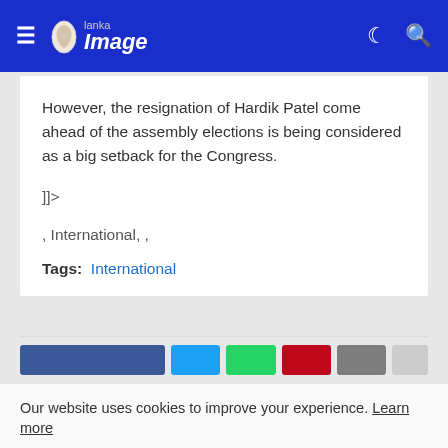Lanka Image
However, the resignation of Hardik Patel come ahead of the assembly elections is being considered as a big setback for the Congress.
]]>
, International, ,
Tags: International
Our website uses cookies to improve your experience. Learn more
Accept !